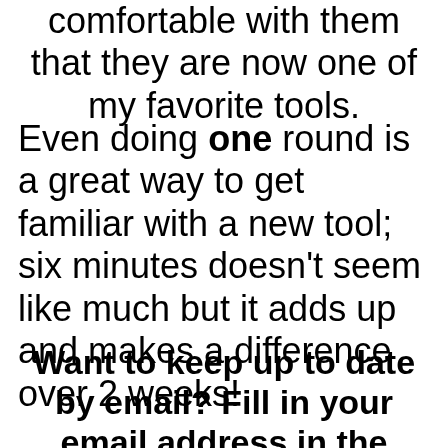comfortable with them that they are now one of my favorite tools.
Even doing one round is a great way to get familiar with a new tool; six minutes doesn't seem like much but it adds up and makes a difference over 2 weeks!
Want to keep up to date by email? Fill in your email address in the place provided in the upper right corner